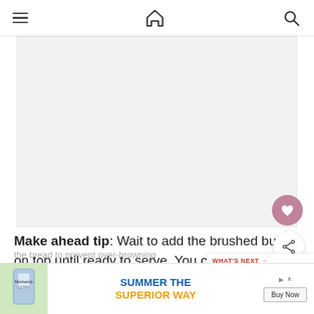Navigation bar with hamburger menu, home icon, and search icon
[Figure (photo): Large light gray image placeholder area for a recipe photo]
Make ahead tip: Wait to add the brushed butter on top until ready to serve. You can reheat bread in the oven at 350 F for 10 minutes. Cover the bread to prevent over-browning w...
[Figure (other): What's Next panel showing Zucchini Banana Bread with thumbnail]
[Figure (other): Advertisement banner: SUMMER THE SUPERIOR WAY with Buy Now button]